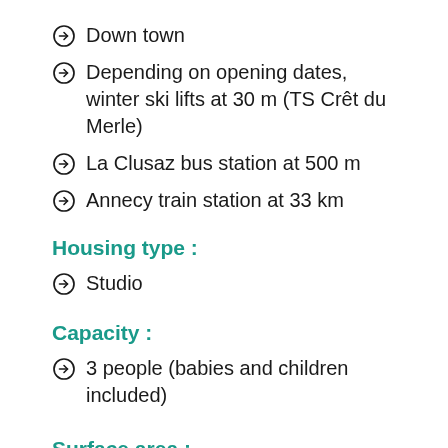Down town
Depending on opening dates, winter ski lifts at 30 m (TS Crêt du Merle)
La Clusaz bus station at 500 m
Annecy train station at 33 km
Housing type :
Studio
Capacity :
3 people (babies and children included)
Surface area :